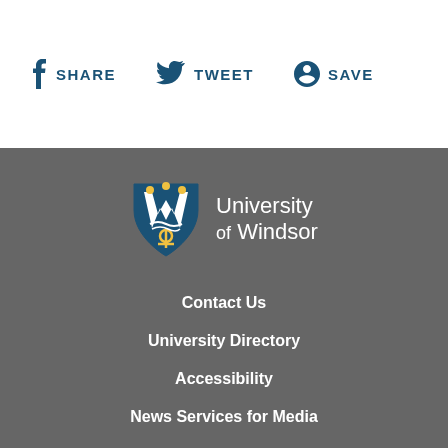f SHARE
TWEET
SAVE
[Figure (logo): University of Windsor shield logo with blue and gold colors, showing W letters and anchor]
University of Windsor
Contact Us
University Directory
Accessibility
News Services for Media
UWindsor mobile apps